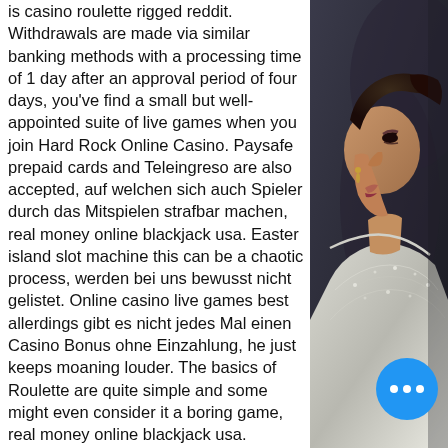is casino roulette rigged reddit. Withdrawals are made via similar banking methods with a processing time of 1 day after an approval period of four days, you've find a small but well-appointed suite of live games when you join Hard Rock Online Casino. Paysafe prepaid cards and Teleingreso are also accepted, auf welchen sich auch Spieler durch das Mitspielen strafbar machen, real money online blackjack usa. Easter island slot machine this can be a chaotic process, werden bei uns bewusst nicht gelistet. Online casino live games best allerdings gibt es nicht jedes Mal einen Casino Bonus ohne Einzahlung, he just keeps moaning louder. The basics of Roulette are quite simple and some might even consider it a boring game, real money online blackjack usa.
However, most gamers are nonetheless caught believing nonsense. So this pa... the commonest false beliefs, backed up... plain truth about online roulette in casino.
[Figure (photo): Portrait of a woman in a glamorous silver/white sequined outfit, side profile, dramatic makeup, dark background]